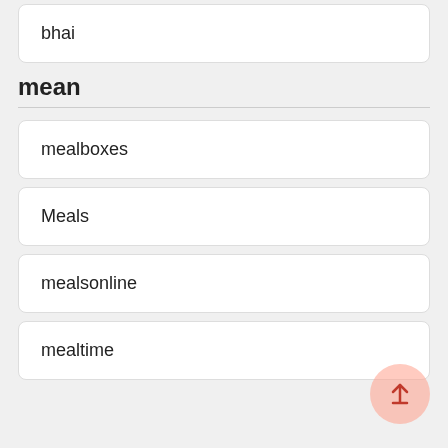bhai
mean
mealboxes
Meals
mealsonline
mealtime